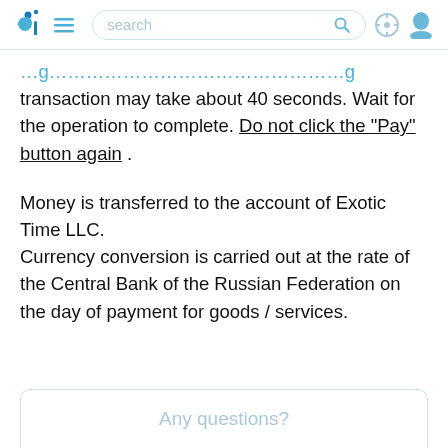search
transaction may take about 40 seconds. Wait for the operation to complete. Do not click the "Pay" button again .
Money is transferred to the account of Exotic Time LLC.
Currency conversion is carried out at the rate of the Central Bank of the Russian Federation on the day of payment for goods / services.
Any questions?